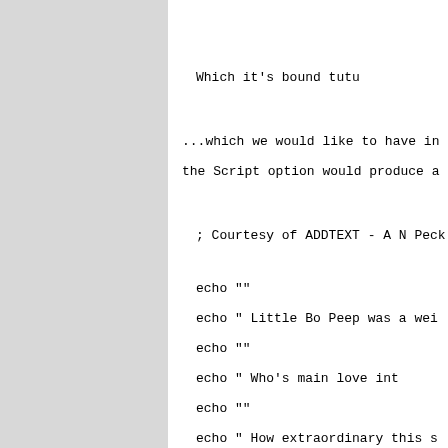Which it's bound tutu
...which we would like to have in a program
the Script option would produce a file whic
; Courtesy of ADDTEXT - A N Peck (1995
echo ""
echo "          Little Bo Peep was a wei
echo ""
echo "               Who's main love int
echo ""
echo "          How extraordinary this s
echo ""